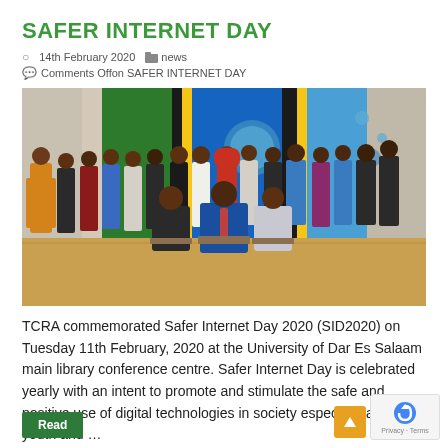SAFER INTERNET DAY
14th February 2020   news
Comments Off on SAFER INTERNET DAY
[Figure (photo): Group photo of approximately 20 people standing and seated in front of a Tanzanian flag and a UNICEF/internet day banner at a conference venue]
TCRA commemorated Safer Internet Day 2020 (SID2020) on Tuesday 11th February, 2020 at the University of Dar Es Salaam main library conference centre. Safer Internet Day is celebrated yearly with an intent to promote and stimulate the safe and positive use of digital technologies in society especially among youth and …